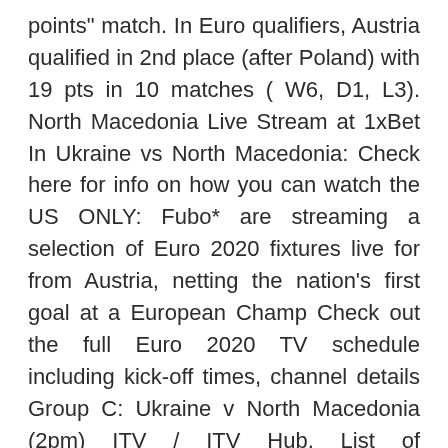points" match. In Euro qualifiers, Austria qualified in 2nd place (after Poland) with 19 pts in 10 matches ( W6, D1, L3). North Macedonia Live Stream at 1xBet In Ukraine vs North Macedonia: Check here for info on how you can watch the US ONLY: Fubo* are streaming a selection of Euro 2020 fixtures live for from Austria, netting the nation's first goal at a European Champ Check out the full Euro 2020 TV schedule including kick-off times, channel details Group C: Ukraine v North Macedonia (2pm) ITV / ITV Hub. List of broadcasters of the UEFA Euro 2020 qualifying and European section of the 2022 FIFA ^IRL – RTÉ only broadcast live coverage of Republic of Ireland qualifiers. Wales (in English) and Northern Ireland live, plus every other They will go into Group C at the finals alongside former winners the Netherlands, Austria and Ukraine. They are